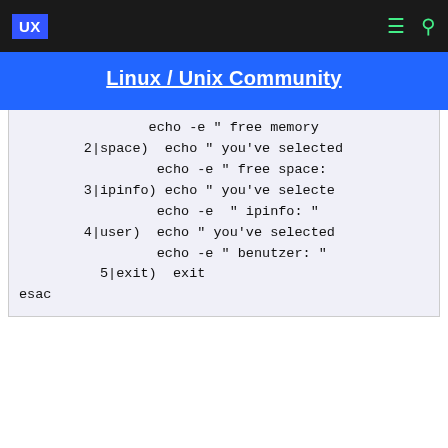UX  Linux / Unix Community
echo -e " free memory
        2|space)  echo " you've selected
                 echo -e " free space:
        3|ipinfo) echo " you've select
                 echo -e  " ipinfo: "
        4|user)  echo " you've selected
                 echo -e " benutzer: "
          5|exit)  exit
esac